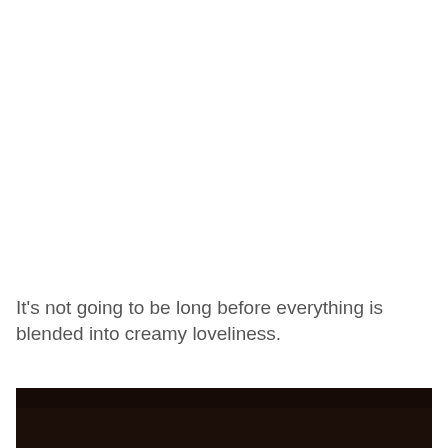It's not going to be long before everything is blended into creamy loveliness.
[Figure (photo): Dark brown/near-black bottom strip of a photo, likely showing a cooking or food-related scene, partially visible at the bottom of the page.]